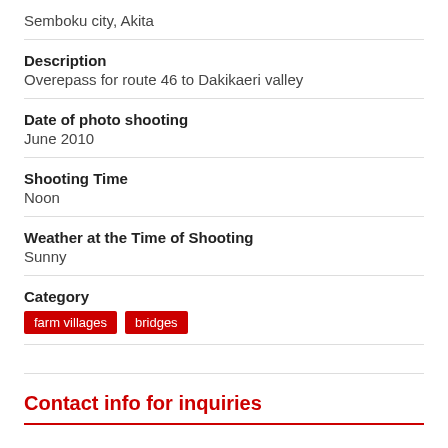Semboku city, Akita
Description
Overepass for route 46 to Dakikaeri valley
Date of photo shooting
June 2010
Shooting Time
Noon
Weather at the Time of Shooting
Sunny
Category
farm villages
bridges
Contact info for inquiries